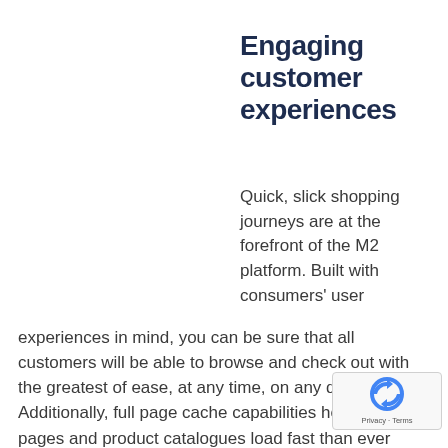Engaging customer experiences
Quick, slick shopping journeys are at the forefront of the M2 platform. Built with consumers' user experiences in mind, you can be sure that all customers will be able to browse and check out with the greatest of ease, at any time, on any device. Additionally, full page cache capabilities help to stored pages and product catalogues load fast than ever before.